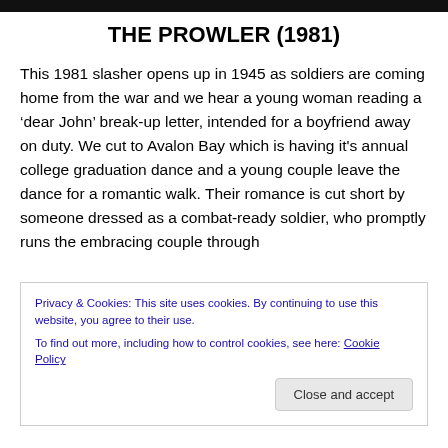[Figure (screenshot): Dark header image strip at the top of the page]
THE PROWLER (1981)
This 1981 slasher opens up in 1945 as soldiers are coming home from the war and we hear a young woman reading a ‘dear John’ break-up letter, intended for a boyfriend away on duty. We cut to Avalon Bay which is having it’s annual college graduation dance and a young couple leave the dance for a romantic walk. Their romance is cut short by someone dressed as a combat-ready soldier, who promptly runs the embracing couple through
Privacy & Cookies: This site uses cookies. By continuing to use this website, you agree to their use.
To find out more, including how to control cookies, see here: Cookie Policy
Close and accept